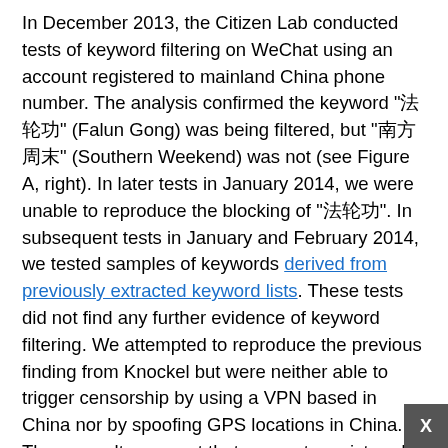In December 2013, the Citizen Lab conducted tests of keyword filtering on WeChat using an account registered to mainland China phone number. The analysis confirmed the keyword "法轮功" (Falun Gong) was being filtered, but "南方周末" (Southern Weekend) was not (see Figure A, right). In later tests in January 2014, we were unable to reproduce the blocking of "法轮功". In subsequent tests in January and February 2014, we tested samples of keywords derived from previously extracted keyword lists. These tests did not find any further evidence of keyword filtering. We attempted to reproduce the previous finding from Knockel but were neither able to trigger censorship by using a VPN based in China nor by spoofing GPS locations in China. These results suggest that accounts registered to mainland China phone numbers enabled the keyword filtering features. These results are inconclusive and further analysis is needed to evaluate if keyword filtering is currently active on WeChat and how the feature is enabled. However, even if keyword filtering in the chat feature is not